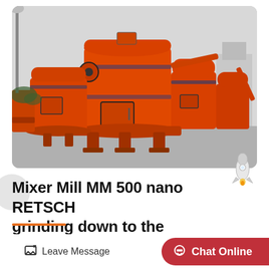[Figure (photo): Multiple large orange industrial grinding mill machines (Raymond mills / roller mills) lined up outdoors in a yard, with grey sky background. The machines are tall cylindrical orange metal structures with grinding bases.]
Mixer Mill MM 500 nano RETSCH grinding down to the
Leave Message
Chat Online